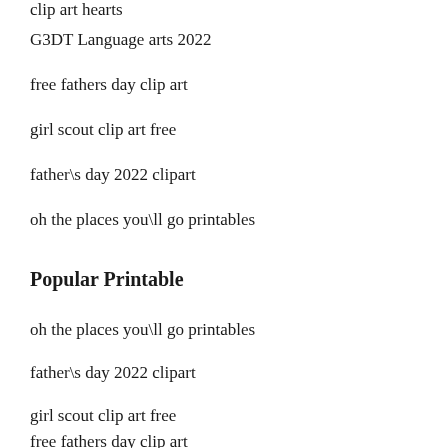clip art hearts
G3DT Language arts 2022
free fathers day clip art
girl scout clip art free
father\s day 2022 clipart
oh the places you\ll go printables
Popular Printable
oh the places you\ll go printables
father\s day 2022 clipart
girl scout clip art free
free fathers day clip art